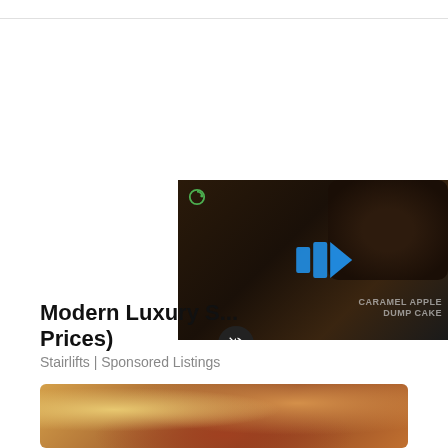[Figure (screenshot): Video player overlay showing a dark food image (caramel apple dump cake) with blue play bars and play triangle icon, a refresh/loop icon in top-left, a mute button, and text 'CARAMEL APPLE DUMP CAKE' on the right side.]
Modern Luxury S... Prices)
Stairlifts | Sponsored Listings
[Figure (photo): Photo of food — appears to be bread rolls or biscuits with a soup or stew, partially visible at bottom of page.]